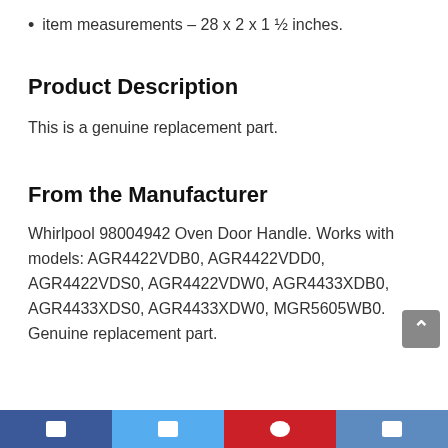item measurements – 28 x 2 x 1 ½ inches.
Product Description
This is a genuine replacement part.
From the Manufacturer
Whirlpool 98004942 Oven Door Handle. Works with models: AGR4422VDB0, AGR4422VDD0, AGR4422VDS0, AGR4422VDW0, AGR4433XDB0, AGR4433XDS0, AGR4433XDW0, MGR5605WB0. Genuine replacement part.